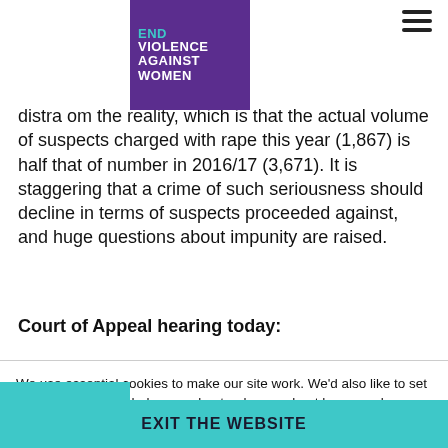[Figure (logo): End Violence Against Women logo - purple square with teal and white text]
distract from the reality, which is that the actual volume of suspects charged with rape this year (1,867) is half that of number in 2016/17 (3,671). It is staggering that a crime of such seriousness should decline in terms of suspects proceeded against, and huge questions about impunity are raised.
Court of Appeal hearing today:
We use essential cookies to make our site work. We'd also like to set optional cookies to help us understand more about how people use the website to help us make further improvements. You can find out more about the cookies we use in our Privacy policy.
EXIT THE WEBSITE